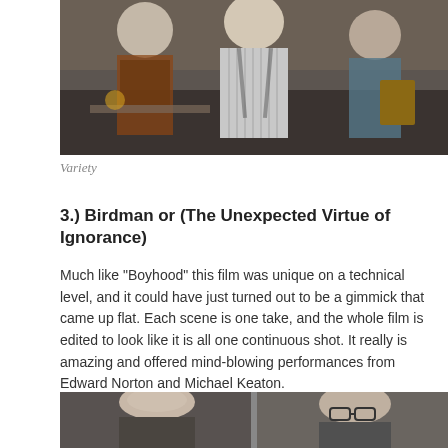[Figure (photo): A film still showing several people in what appears to be a backstage or office setting. Figures include a man in a pinstripe shirt with suspenders and others around him.]
Variety
3.) Birdman or (The Unexpected Virtue of Ignorance)
Much like “Boyhood” this film was unique on a technical level, and it could have just turned out to be a gimmick that came up flat. Each scene is one take, and the whole film is edited to look like it is all one continuous shot. It really is amazing and offered mind-blowing performances from Edward Norton and Michael Keaton.
[Figure (photo): A film still showing two actors side by side: a bald man on the left and a man wearing glasses on the right, appearing to be from the movie Birdman.]